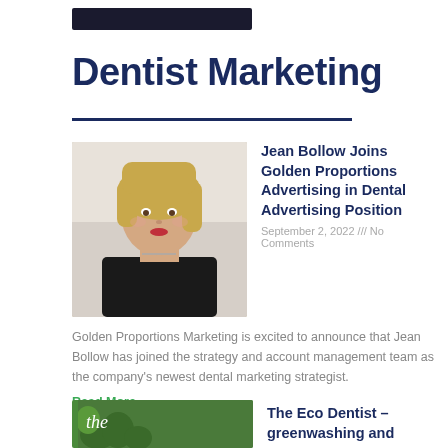Dentist Marketing
[Figure (photo): Headshot photo of Jean Bollow, a blonde woman in a black sleeveless top]
Jean Bollow Joins Golden Proportions Advertising in Dental Advertising Position
September 2, 2022 /// No Comments
Golden Proportions Marketing is excited to announce that Jean Bollow has joined the strategy and account management team as the company's newest dental marketing strategist.
Read More »
[Figure (photo): Thumbnail image with green background and text 'the' in italic]
The Eco Dentist – greenwashing and